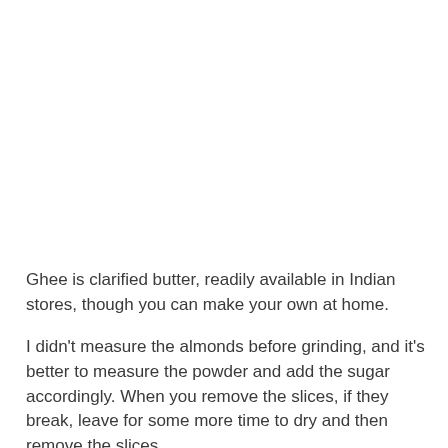Ghee is clarified butter, readily available in Indian stores, though you can make your own at home.
I didn't measure the almonds before grinding, and it's better to measure the powder and add the sugar accordingly. When you remove the slices, if they break, leave for some more time to dry and then remove the slices.